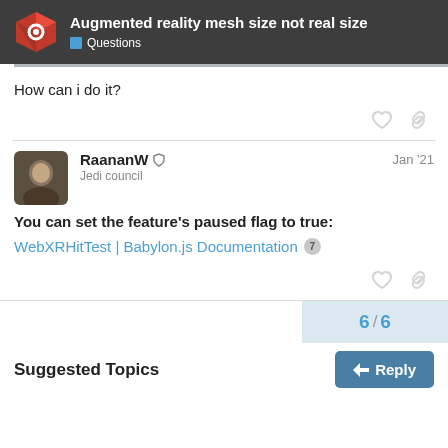Augmented reality mesh size not real size | Questions
How can i do it?
RaananW  Jedi council  Jan '21
You can set the feature's paused flag to true:
WebXRHitTest | Babylon.js Documentation 7
6 / 6
Suggested Topics
Reply